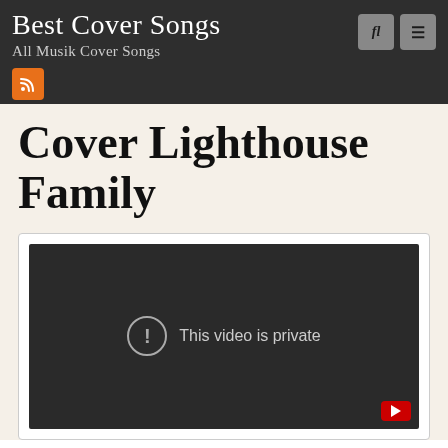Best Cover Songs
All Musik Cover Songs
Cover Lighthouse Family
[Figure (screenshot): Embedded video player showing 'This video is private' error message on dark background with YouTube logo in bottom right corner]